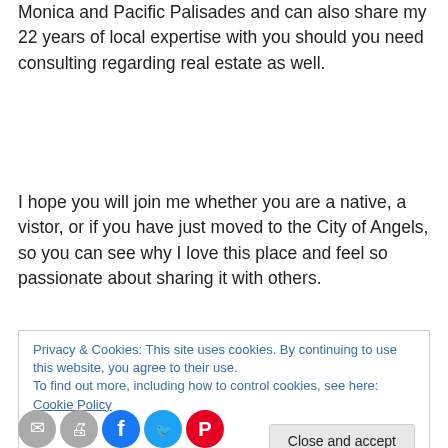Monica and Pacific Palisades and can also share my 22 years of local expertise with you should you need consulting regarding real estate as well.
I hope you will join me whether you are a native, a vistor, or if you have just moved to the City of Angels, so you can see why I love this place and feel so passionate about sharing it with others.
Privacy & Cookies: This site uses cookies. By continuing to use this website, you agree to their use.
To find out more, including how to control cookies, see here: Cookie Policy
[Figure (other): Social sharing icons row: email, print, Facebook (blue), Twitter (teal), Pinterest (red)]